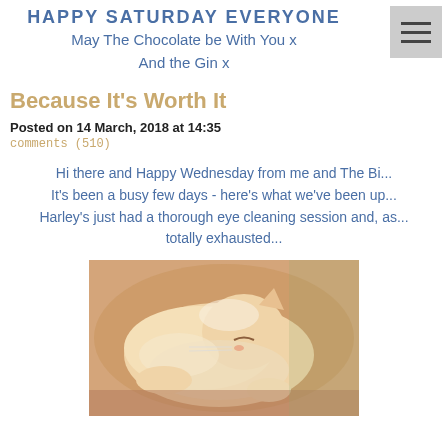HAPPY SATURDAY EVERYONE
May The Chocolate be With You x
And the Gin x
Because It's Worth It
Posted on 14 March, 2018 at 14:35
comments (510)
Hi there and Happy Wednesday from me and The Bi... It's been a busy few days - here's what we've been up... Harley's just had a thorough eye cleaning session and, as... totally exhausted...
[Figure (photo): A fluffy orange/cream cat sleeping curled up, eyes closed, appearing very relaxed and exhausted.]